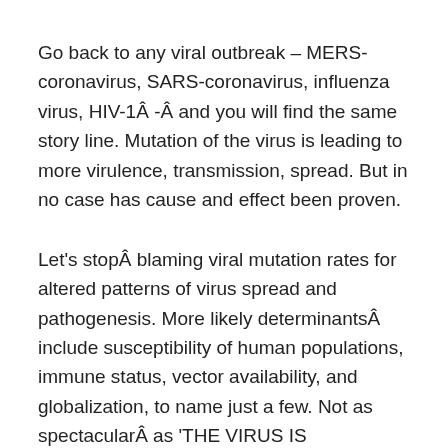Go back to any viral outbreak – MERS-coronavirus, SARS-coronavirus, influenza virus, HIV-1Â -Â and you will find the same story line. Mutation of the virus is leading to more virulence, transmission, spread. But in no case has cause and effect been proven.
Let's stopÂ blaming viral mutation rates for altered patterns of virus spread and pathogenesis. More likely determinantsÂ include susceptibility of human populations, immune status, vector availability, and globalization, to name just a few. Not as spectacularÂ as 'THE VIRUS IS MUTATING!', but nearer to the truth.